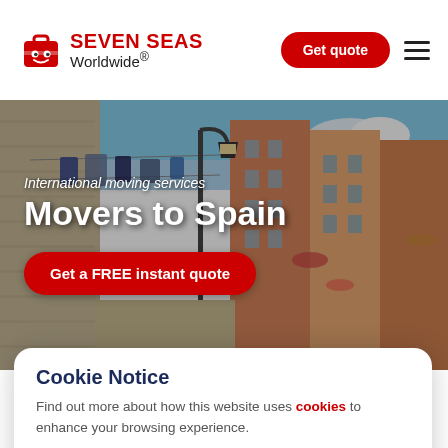Seven Seas Worldwide® — Get quote
[Figure (screenshot): Hero background photo of a colorful narrow Mediterranean street in Spain with hanging laundry, a streetlamp, and ornate building facades]
Movers to Spain
International moving services
Get a FREE instant quote
Cookie Notice
Find out more about how this website uses cookies to enhance your browsing experience.
Accept Cookies